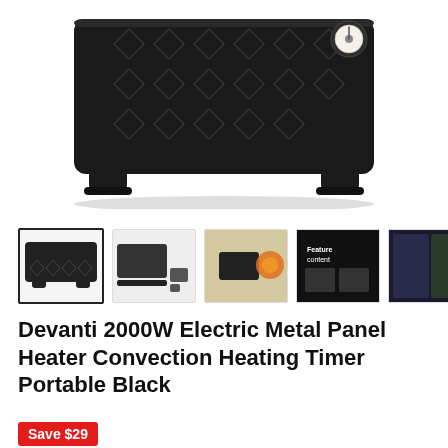[Figure (photo): Main product image: Devanti 2000W black electric panel heater, top portion showing the heater body with diamond-pattern embossing, legs/feet at bottom, and a circular timer/thermostat dial visible at top right]
[Figure (photo): Thumbnail strip showing 7 product images: 1) heater alone (selected), 2) heater with remote control accessories, 3) heater in room with orange lamp, 4) close-up dark feature callout image, 5) comparison/feature panel dark image, 6) feature panel with baby image for safety, 7) partially visible next thumbnail]
Devanti 2000W Electric Metal Panel Heater Convection Heating Timer Portable Black
Save $29